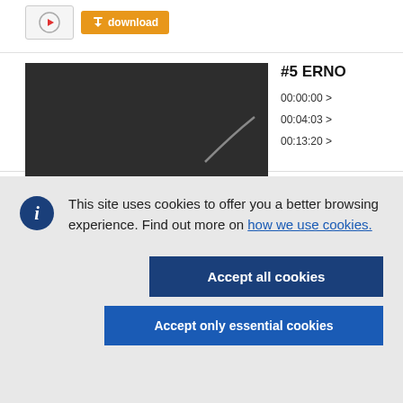[Figure (screenshot): Top bar with play button and orange download button]
[Figure (screenshot): Dark video thumbnail showing a curved line at bottom right]
#5 ERNO
00:00:00 >
00:04:03 >
00:13:20 >
This site uses cookies to offer you a better browsing experience. Find out more on how we use cookies.
Accept all cookies
Accept only essential cookies